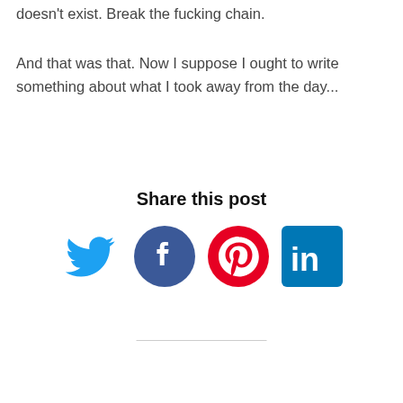doesn't exist. Break the fucking chain.
And that was that. Now I suppose I ought to write something about what I took away from the day...
Share this post
[Figure (infographic): Four social media share icons: Twitter (blue bird), Facebook (blue circle with f), Pinterest (red circle with P), LinkedIn (blue square with in)]